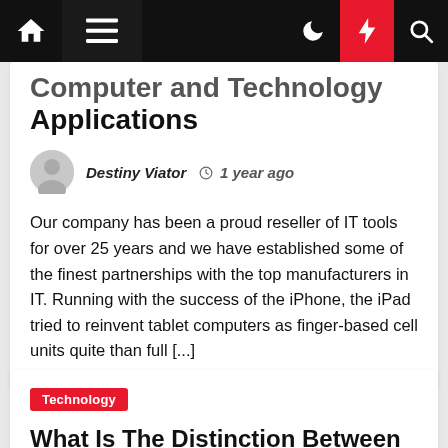Navigation bar with home, menu, moon, bolt, and search icons
Computer and Technology Applications
Destiny Viator  1 year ago
Our company has been a proud reseller of IT tools for over 25 years and we have established some of the finest partnerships with the top manufacturers in IT. Running with the success of the iPhone, the iPad tried to reinvent tablet computers as finger-based cell units quite than full [...]
Technology
What Is The Distinction Between